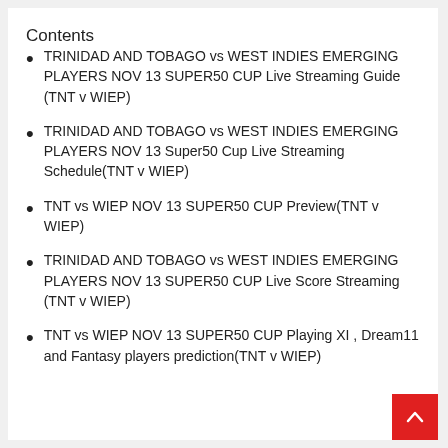Contents
TRINIDAD AND TOBAGO vs WEST INDIES EMERGING PLAYERS NOV 13 SUPER50 CUP Live Streaming Guide (TNT v WIEP)
TRINIDAD AND TOBAGO vs WEST INDIES EMERGING PLAYERS NOV 13 Super50 Cup Live Streaming Schedule(TNT v WIEP)
TNT vs WIEP NOV 13 SUPER50 CUP Preview(TNT v WIEP)
TRINIDAD AND TOBAGO vs WEST INDIES EMERGING PLAYERS NOV 13 SUPER50 CUP Live Score Streaming (TNT v WIEP)
TNT vs WIEP NOV 13 SUPER50 CUP Playing XI , Dream11 and Fantasy players prediction(TNT v WIEP)